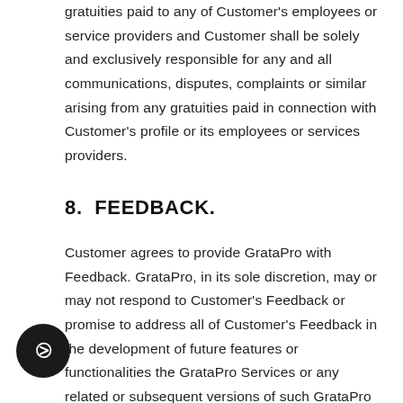gratuities paid to any of Customer's employees or service providers and Customer shall be solely and exclusively responsible for any and all communications, disputes, complaints or similar arising from any gratuities paid in connection with Customer's profile or its employees or services providers.
8.  FEEDBACK.
Customer agrees to provide GrataPro with Feedback. GrataPro, in its sole discretion, may or may not respond to Customer's Feedback or promise to address all of Customer's Feedback in the development of future features or functionalities the GrataPro Services or any related or subsequent versions of such GrataPro Services